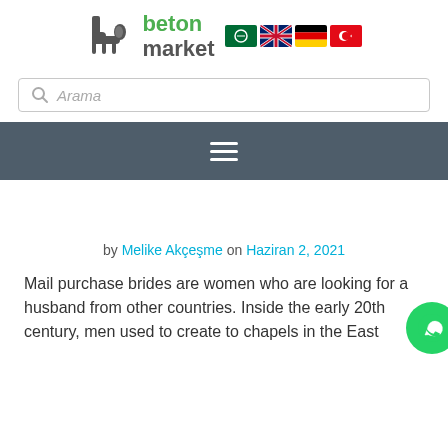[Figure (logo): Beton Market logo with elephant icon and green text, with Arabic, UK, German, and Turkish flag icons]
[Figure (screenshot): Search bar with magnifying glass icon and italic placeholder text 'Arama']
[Figure (screenshot): Dark grey navigation bar with hamburger menu icon (three white horizontal lines)]
by Melike Akçeşme on Haziran 2, 2021
Mail purchase brides are women who are looking for a husband from other countries. Inside the early 20th century, men used to create to chapels in the East